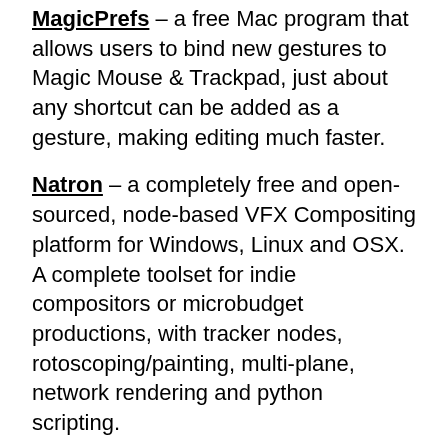MagicPrefs – a free Mac program that allows users to bind new gestures to Magic Mouse & Trackpad, just about any shortcut can be added as a gesture, making editing much faster.
Natron – a completely free and open-sourced, node-based VFX Compositing platform for Windows, Linux and OSX. A complete toolset for indie compositors or microbudget productions, with tracker nodes, rotoscoping/painting, multi-plane, network rendering and python scripting.
Nvidia – a free Texture Tools plugin for Photoshop allowing users to generate normal maps, texture compression, mip map generation and cube map formatting (Windows only, sadly).
OpenAir – An Impulse Response Library, under